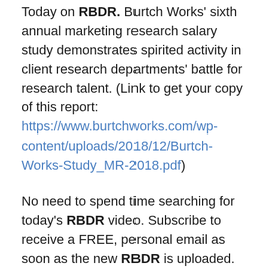Today on RBDR. Burtch Works' sixth annual marketing research salary study demonstrates spirited activity in client research departments' battle for research talent. (Link to get your copy of this report: https://www.burtchworks.com/wp-content/uploads/2018/12/Burtch-Works-Study_MR-2018.pdf)
No need to spend time searching for today's RBDR video. Subscribe to receive a FREE, personal email as soon as the new RBDR is uploaded. Click here.